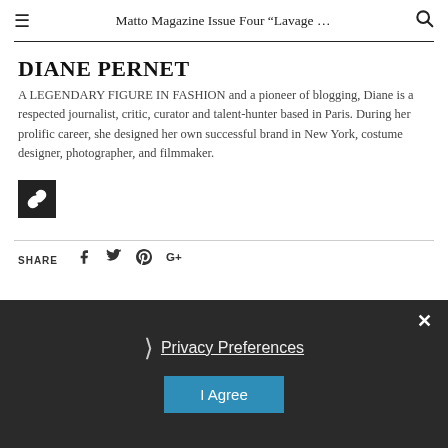Matto Magazine Issue Four “Lavage …
DIANE PERNET
A LEGENDARY FIGURE IN FASHION and a pioneer of blogging, Diane is a respected journalist, critic, curator and talent-hunter based in Paris. During her prolific career, she designed her own successful brand in New York, costume designer, photographer, and filmmaker.
[Figure (other): Black square button with a chain/link icon]
SHARE
Privacy Preferences
I Agree